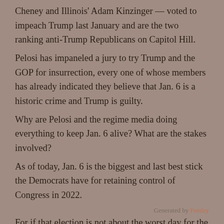Cheney and Illinois' Adam Kinzinger — voted to impeach Trump last January and are the two ranking anti-Trump Republicans on Capitol Hill.
Pelosi has impaneled a jury to try Trump and the GOP for insurrection, every one of whose members has already indicated they believe that Jan. 6 is a historic crime and Trump is guilty.
Why are Pelosi and the regime media doing everything to keep Jan. 6 alive? What are the stakes involved?
As of today, Jan. 6 is the biggest and last best stick the Democrats have for retaining control of Congress in 2022.
Generated by Feedzy
For if that election is not about the worst day for the GOP of